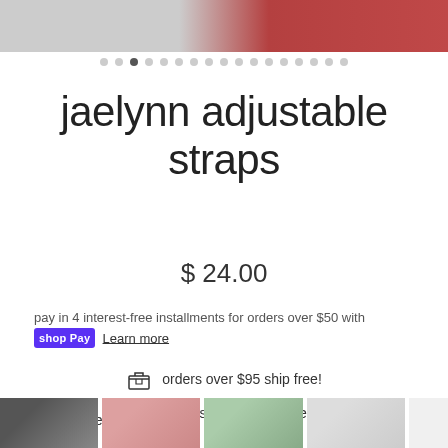[Figure (photo): Top cropped product/lifestyle photo showing gray and red/burgundy fabric]
jaelynn adjustable straps
$ 24.00
pay in 4 interest-free installments for orders over $50 with shop Pay Learn more
orders over $95 ship free!
3-5 day shipping from the usa!
pattern - red chevron
[Figure (photo): Row of product thumbnail images at the bottom]